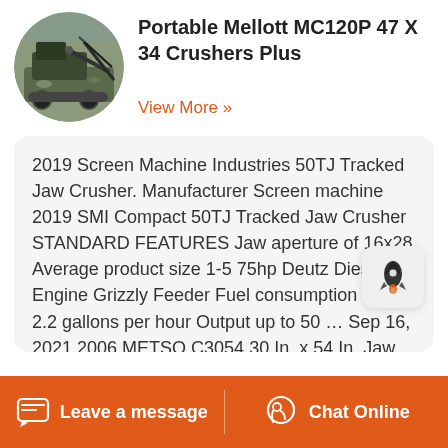[Figure (photo): Circular thumbnail photo of a portable jaw crusher machine outdoors]
Portable Mellott MC120P 47 X 34 Crushers Plus
View More »
2019 Screen Machine Industries 50TJ Tracked Jaw Crusher. Manufacturer Screen machine 2019 SMI Compact 50TJ Tracked Jaw Crusher STANDARD FEATURES Jaw aperture of 16x28 Average product size 1-5 75hp Deutz Diesel Engine Grizzly Feeder Fuel consumption app 2.2 gallons per hour Output up to 50 ... Sep 16, 2021 2006 METSO C3054 30 In. x 54 In. Jaw Crusher . Maryland (631 mi away) On-Site Auction. North East, MD, USA. Sep 14 – Sep 16 2021. View on rbauction.com. Quick View. 2018 MCCLOSKEY C44V2 Crawler Cone Crusher
Leave a message
Chat Online